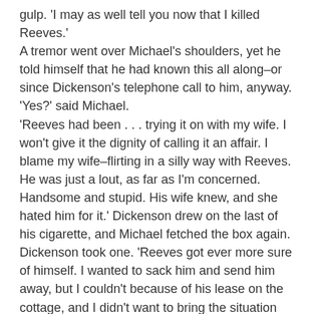gulp. 'I may as well tell you now that I killed Reeves.' A tremor went over Michael's shoulders, yet he told himself that he had known this all along–or since Dickenson's telephone call to him, anyway. 'Yes?' said Michael. 'Reeves had been . . . trying it on with my wife. I won't give it the dignity of calling it an affair. I blame my wife–flirting in a silly way with Reeves. He was just a lout, as far as I'm concerned. Handsome and stupid. His wife knew, and she hated him for it.' Dickenson drew on the last of his cigarette, and Michael fetched the box again. Dickenson took one. 'Reeves got ever more sure of himself. I wanted to sack him and send him away, but I couldn't because of his lease on the cottage, and I didn't want to bring the situation with my wife to light–with the law, I mean, as a reason.' 'How long did this go on?'